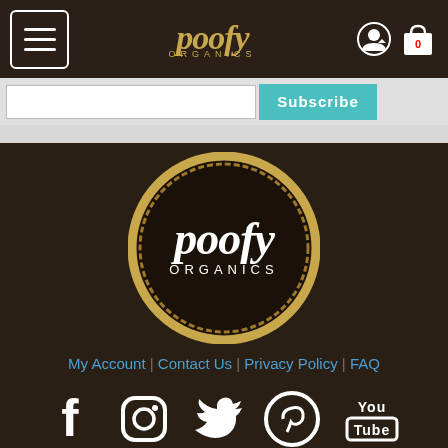Poofy Organics website header with hamburger menu, logo, and cart/account icons
Subscribe
[Figure (logo): Poofy Organics circular logo with gold ring on dark brown background, white serif text reading 'poofy ORGANICS']
My Account | Contact Us | Privacy Policy | FAQ
[Figure (illustration): Social media icons: Facebook, Instagram, Twitter, Pinterest, YouTube — white on dark brown background]